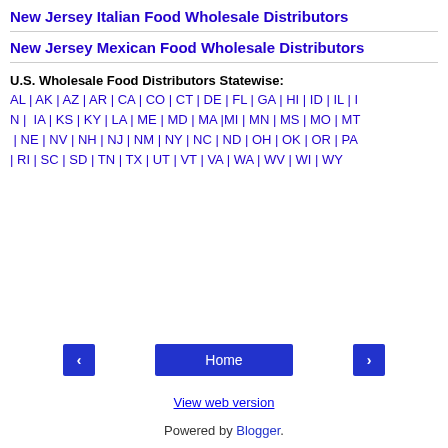New Jersey Italian Food Wholesale Distributors
New Jersey Mexican Food Wholesale Distributors
U.S. Wholesale Food Distributors Statewise:
AL | AK | AZ | AR | CA | CO | CT | DE | FL | GA | HI | ID | IL | IN | IA | KS | KY | LA | ME | MD | MA | MI | MN | MS | MO | MT | NE | NV | NH | NJ | NM | NY | NC | ND | OH | OK | OR | PA | RI | SC | SD | TN | TX | UT | VT | VA | WA | WV | WI | WY
Home
View web version
Powered by Blogger.